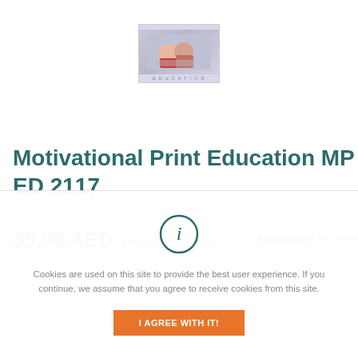[Figure (logo): Education logo with image of students and 'EDUCATION' text below]
Motivational Print Education MP ED 2117
35.00 AED  (36.75 AED inc tax)  Availability: In stock
[Figure (infographic): Cookie consent overlay with info icon, message and agree button]
Cookies are used on this site to provide the best user experience. If you continue, we assume that you agree to receive cookies from this site.